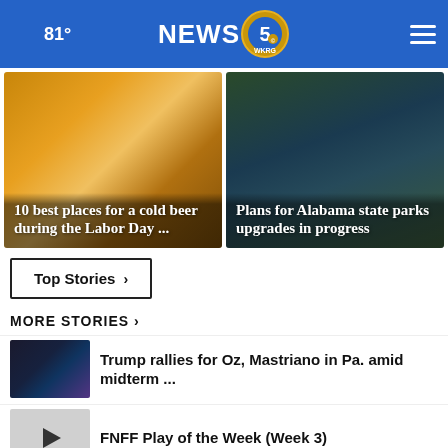81° NEWS 5 WKRG
[Figure (screenshot): Two image cards side by side: left card shows beer glasses with text '10 best places for a cold beer during the Labor Day ...'; right card shows trees/nature with text 'Plans for Alabama state parks upgrades in progress']
10 best places for a cold beer during the Labor Day ...
Plans for Alabama state parks upgrades in progress
Top Stories ›
MORE STORIES ›
Trump rallies for Oz, Mastriano in Pa. amid midterm ...
FNFF Play of the Week (Week 3)